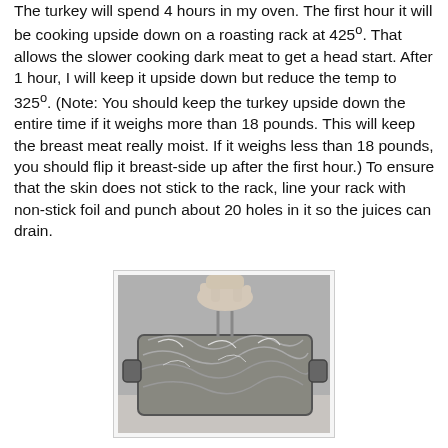The turkey will spend 4 hours in my oven. The first hour it will be cooking upside down on a roasting rack at 425º. That allows the slower cooking dark meat to get a head start. After 1 hour, I will keep it upside down but reduce the temp to 325º. (Note: You should keep the turkey upside down the entire time if it weighs more than 18 pounds. This will keep the breast meat really moist. If it weighs less than 18 pounds, you should flip it breast-side up after the first hour.) To ensure that the skin does not stick to the rack, line your rack with non-stick foil and punch about 20 holes in it so the juices can drain.
[Figure (photo): Black and white photograph of a roasting rack lined with crinkled aluminum foil, held by a hand visible at the top of the image.]